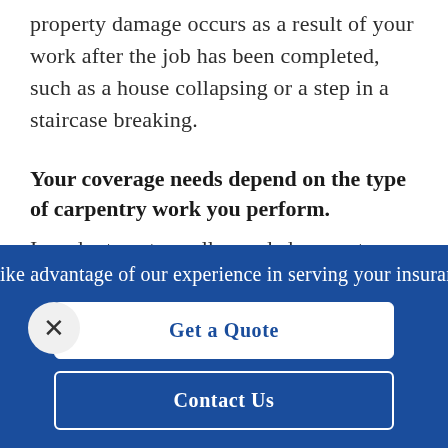property damage occurs as a result of your work after the job has been completed, such as a house collapsing or a step in a staircase breaking.
Your coverage needs depend on the type of carpentry work you perform.
In order to get a well-rounded carpenter insurance policy, it's important for your agent to
ike advantage of our experience in serving your insuran
Get a Quote
Contact Us